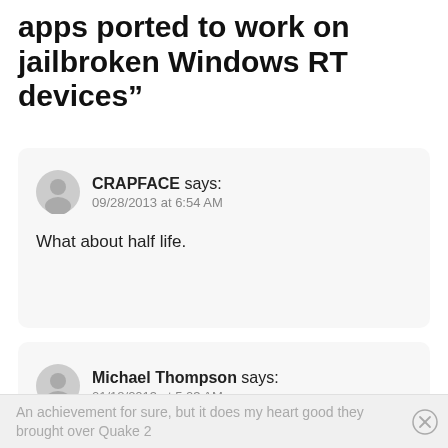apps ported to work on jailbroken Windows RT devices”
CRAPFACE says:
09/28/2013 at 6:54 AM
What about half life.
Michael Thompson says:
01/18/2013 at 5:03 AM
An achievement for sure, but it does my heart good they brought over Quake 2